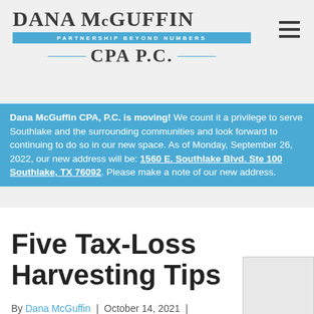DANA McGUFFIN
PARTNERSHIP BEYOND NUMBERS
CPA P.C.
Dana McGuffin CPA, P.C. is moving! We count it a privilege to serve Southlake and the surrounding communities and look forward to continuing to do so in our new space. As of Monday, September 26, 2022, our new address will be: 1560 E. Southlake Blvd. Ste 100 Southlake, TX 76092. Please make a note of our new address.
Five Tax-Loss Harvesting Tips
By Dana McGuffin | October 14, 2021 | Comments Off